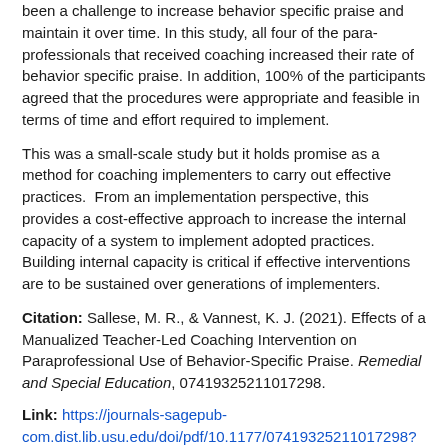been a challenge to increase behavior specific praise and maintain it over time. In this study, all four of the para-professionals that received coaching increased their rate of behavior specific praise. In addition, 100% of the participants agreed that the procedures were appropriate and feasible in terms of time and effort required to implement.
This was a small-scale study but it holds promise as a method for coaching implementers to carry out effective practices. From an implementation perspective, this provides a cost-effective approach to increase the internal capacity of a system to implement adopted practices. Building internal capacity is critical if effective interventions are to be sustained over generations of implementers.
Citation: Sallese, M. R., & Vannest, K. J. (2021). Effects of a Manualized Teacher-Led Coaching Intervention on Paraprofessional Use of Behavior-Specific Praise. Remedial and Special Education, 07419325211017298.
Link: https://journals-sagepub-com.dist.lib.usu.edu/doi/pdf/10.1177/07419325211017298?casa_token=SxqgzIctDbYAAAAA:m6SYJpowkUZud_eynTS6oZUX0Bbn2ExL87kZ7PO8fzmZz7Di2CSKl08A9KO2Wv1h32uaf68TQuja